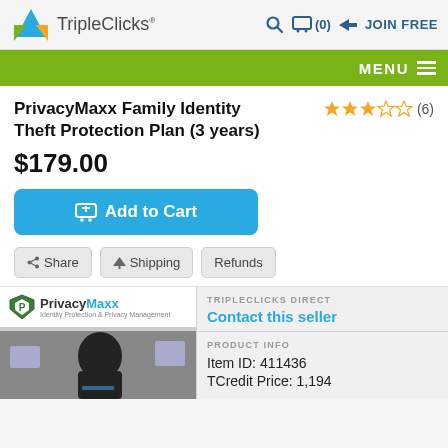TripleClicks® | Q | Cart (0) | JOIN FREE | MENU
PrivacyMaxx Family Identity Theft Protection Plan (3 years)
★★★☆☆ (6)
$179.00
Add to Cart
Share | Shipping | Refunds
TRIPLECLICKS DIRECT
Contact this seller
PRODUCT INFO
Item ID: 411436
TCredit Price: 1,194